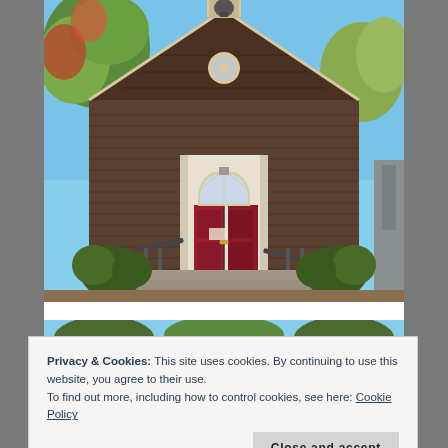[Figure (photo): Exterior photograph of a brown-shingled church building with a red double door, arched Gothic window, bell tower at peak, stone steps leading up to entrance, flanked by trimmed shrubs and autumn trees against a blue sky.]
[Figure (photo): Partial view of a second outdoor photo strip, showing trees and blue sky.]
Privacy & Cookies: This site uses cookies. By continuing to use this website, you agree to their use.
To find out more, including how to control cookies, see here: Cookie Policy
Close and accept
[Figure (photo): Partial view of a third outdoor photo strip at bottom of page.]